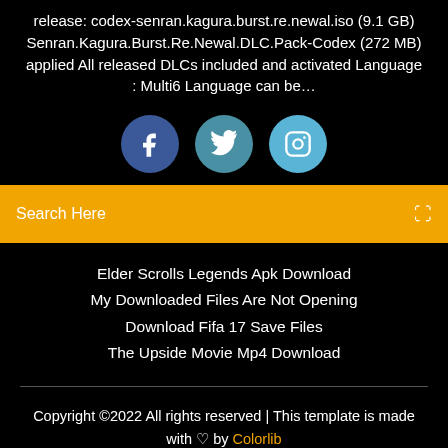release: codex-senran.kagura.burst.re.newal.iso (9.1 GB) Senran.Kagura.Burst.Re.Newal.DLC.Pack-Codex (272 MB) applied All released DLCs included and activated Language : Multi6 Language can be…
[Figure (illustration): Three social media icon circles: Facebook (dark blue), Twitter (medium blue), Instagram (light blue)]
Search Here
Elder Scrolls Legends Apk Download
My Downloaded Files Are Not Opening
Download Fifa 17 Save Files
The Upside Movie Mp4 Download
Copyright ©2022 All rights reserved | This template is made with ♡ by Colorlib